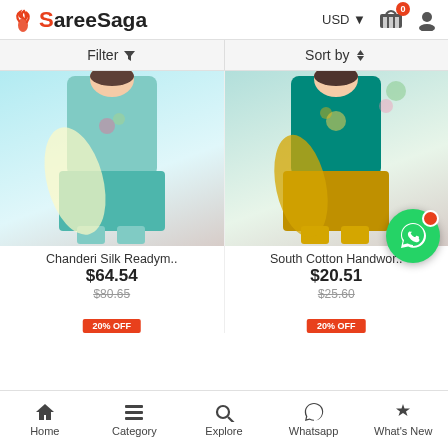SareeSaga — USD ▼ 🛒 0 👤
Filter ▼  Sort by ⬆⬇
[Figure (photo): Woman wearing light teal/turquoise Chanderi Silk salwar kameez with embroidered dupatta]
Chanderi Silk Readym..
$64.54
$80.65
[Figure (photo): Woman wearing teal green South Cotton salwar kameez with golden/beige embroidered dupatta]
South Cotton Handwor..
$20.51
$25.60
20% OFF  20% OFF
Home  Category  Explore  Whatsapp  What's New